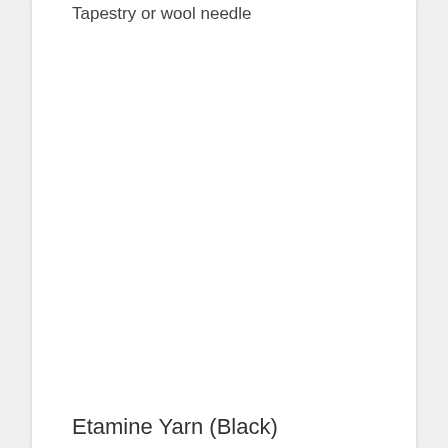Tapestry or wool needle
Etamine Yarn (Black)